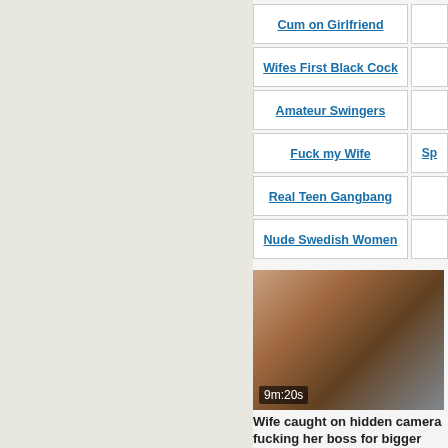Cum on Girlfriend
Wifes First Black Cock
Amateur Swingers
Fuck my Wife
Real Teen Gangbang
Nude Swedish Women
[Figure (photo): Video thumbnail showing two people in a bedroom, duration 9m:20s]
Wife caught on hidden camera fucking her boss for bigger paycheck
1 404 views
0%